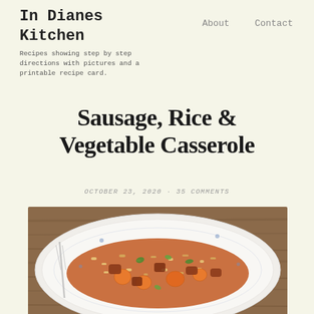In Dianes Kitchen
Recipes showing step by step directions with pictures and a printable recipe card.
About  Contact
Sausage, Rice & Vegetable Casserole
OCTOBER 23, 2020  ·  35 COMMENTS
[Figure (photo): A plate of sausage, rice and vegetable casserole with carrots and green herbs, served on a decorative white plate, on a wooden table background.]